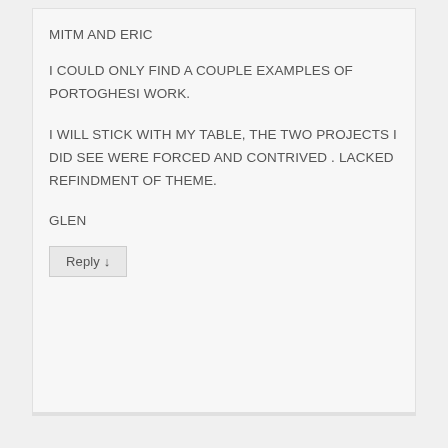MITM AND ERIC
I COULD ONLY FIND A COUPLE EXAMPLES OF PORTOGHESI WORK.
I WILL STICK WITH MY TABLE, THE TWO PROJECTS I DID SEE WERE FORCED AND CONTRIVED . LACKED REFINDMENT OF THEME.
GLEN
Reply ↓